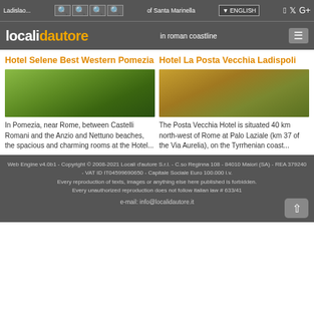Ladislao... | [icons] | of Santa Marinella | ENGLISH | [social icons]
localidautore | in roman coastline | [menu]
Hotel Selene Best Western Pomezia
Hotel La Posta Vecchia Ladispoli
[Figure (photo): Aerial/panoramic photo of green landscape with hills near Pomezia]
[Figure (photo): Photo of Hotel La Posta Vecchia building with garden and trees]
In Pomezia, near Rome, between Castelli Romani and the Anzio and Nettuno beaches, the spacious and charming rooms at the Hotel...
The Posta Vecchia Hotel is situated 40 km north-west of Rome at Palo Laziale (km 37 of the Via Aurelia), on the Tyrrhenian coast...
Web Engine v4.0b1 - Copyright © 2008-2021 Locali d'autore S.r.l. - C.so Reginna 108 - 84010 Maiori (SA) - REA 379240 - VAT ID IT04599690650 - Capitale Sociale Euro 100.000 i.v. Every reproduction of texts, images or anything else here published is forbidden. Every unauthorized reproduction does not follow italian law # 633/41
e-mail: info@localidautore.it